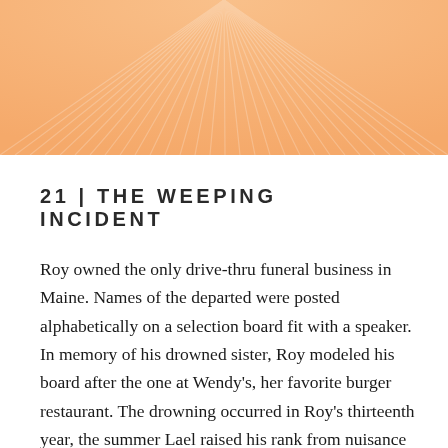[Figure (illustration): Decorative peach/orange background with radiating light ray pattern (sunburst), used as a chapter header image.]
21 | THE WEEPING INCIDENT
Roy owned the only drive-thru funeral business in Maine. Names of the departed were posted alphabetically on a selection board fit with a speaker. In memory of his drowned sister, Roy modeled his board after the one at Wendy's, her favorite burger restaurant. The drowning occurred in Roy's thirteenth year, the summer Lael raised his rank from nuisance to friend. On his board, poems, cards, and flowers were listed for purchase in place of singles, fries, and Frosties. Roy thought the drive-thru